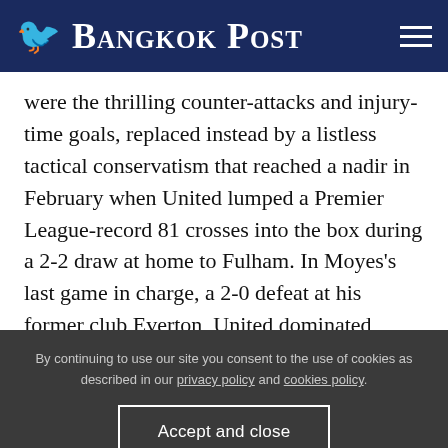Bangkok Post
were the thrilling counter-attacks and injury-time goals, replaced instead by a listless tactical conservatism that reached a nadir in February when United lumped a Premier League-record 81 crosses into the box during a 2-2 draw at home to Fulham. In Moyes's last game in charge, a 2-0 defeat at his former club Everton, United dominated possession, but did nothing with it. "Possession football, meaningless football, against clinical football," was
By continuing to use our site you consent to the use of cookies as described in our privacy policy and cookies policy.
Accept and close